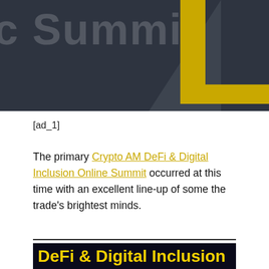[Figure (photo): Dark gray/navy background banner with large semi-transparent white text reading 'c Summit...' and a bold yellow letter 'L' shape on the right side with a gray triangle]
[ad_1]
The primary Crypto AM DeFi & Digital Inclusion Online Summit occurred at this time with an excellent line-up of some the trade's brightest minds.
[Figure (photo): Dark banner image with bold yellow text reading 'DeFi & Digital Inclusion']